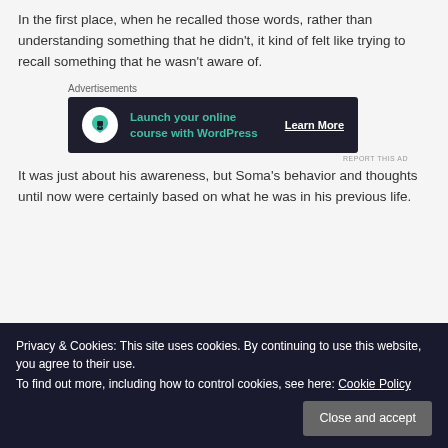In the first place, when he recalled those words, rather than understanding something that he didn't, it kind of felt like trying to recall something that he wasn't aware of.
[Figure (other): Advertisement banner: 'Launch your online course with WordPress' with bonsai tree icon and 'Learn More' link on dark background]
It was just about his awareness, but Soma's behavior and thoughts until now were certainly based on what he was in his previous life.
Privacy & Cookies: This site uses cookies. By continuing to use this website, you agree to their use. To find out more, including how to control cookies, see here: Cookie Policy
Since he was aware about today's event, how long has he